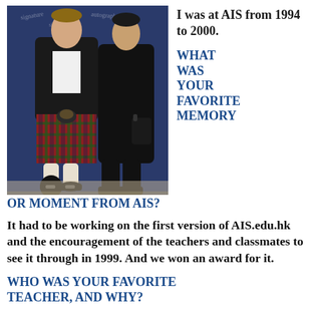[Figure (photo): Two people standing together; one wearing a tartan kilt with traditional Scottish accessories, the other in dark clothing, posed in front of a blue background with signatures.]
I was at AIS from 1994 to 2000.
WHAT WAS YOUR FAVORITE MEMORY OR MOMENT FROM AIS?
It had to be working on the first version of AIS.edu.hk and the encouragement of the teachers and classmates to see it through in 1999. And we won an award for it.
WHO WAS YOUR FAVORITE TEACHER, AND WHY?